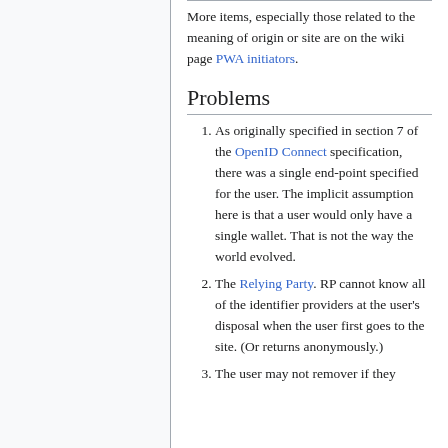More items, especially those related to the meaning of origin or site are on the wiki page PWA initiators.
Problems
1. As originally specified in section 7 of the OpenID Connect specification, there was a single end-point specified for the user. The implicit assumption here is that a user would only have a single wallet. That is not the way the world evolved.
2. The Relying Party. RP cannot know all of the identifier providers at the user's disposal when the user first goes to the site. (Or returns anonymously.)
3. The user may not remover if they